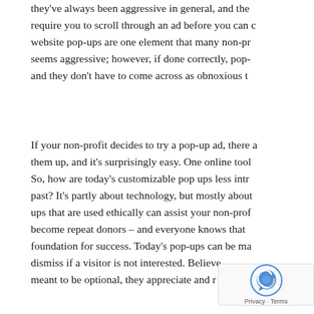they've always been aggressive in general, and they require you to scroll through an ad before you can continue. website pop-ups are one element that many non-profits seems aggressive; however, if done correctly, pop-ups and they don't have to come across as obnoxious to
If your non-profit decides to try a pop-up ad, there are them up, and it's surprisingly easy. One online tool So, how are today's customizable pop ups less intrusive than the past? It's partly about technology, but mostly about pop-ups that are used ethically can assist your non-profit become repeat donors – and everyone knows that foundation for success. Today's pop-ups can be made to dismiss if a visitor is not interested. Believe meant to be optional, they appreciate and respond